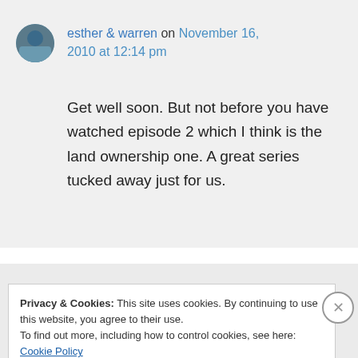esther & warren on November 16, 2010 at 12:14 pm
Get well soon. But not before you have watched episode 2 which I think is the land ownership one. A great series tucked away just for us.
Privacy & Cookies: This site uses cookies. By continuing to use this website, you agree to their use.
To find out more, including how to control cookies, see here: Cookie Policy
Close and accept